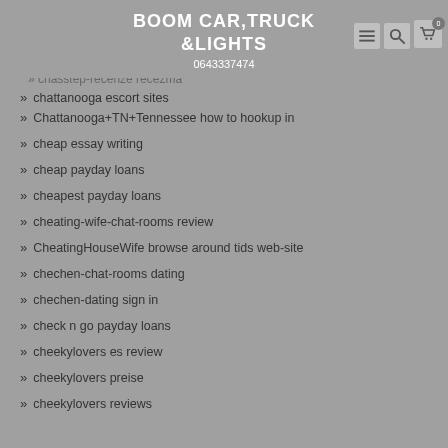BOOM CAR,TRUCK &LIGHTS
0643337474
Chattanooga+TN+Tennessee how to hookup in
cheap essay writing
cheap payday loans
cheapest payday loans
cheating-wife-chat-rooms review
CheatingHouseWife browse around tids web-site
chechen-chat-rooms dating
chechen-dating sign in
check n go payday loans
cheekylovers es review
cheekylovers preise
cheekylovers reviews